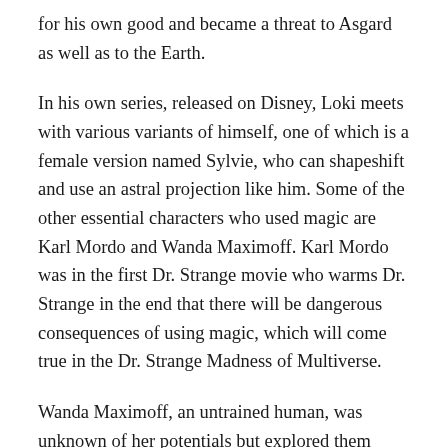for his own good and became a threat to Asgard as well as to the Earth.
In his own series, released on Disney, Loki meets with various variants of himself, one of which is a female version named Sylvie, who can shapeshift and use an astral projection like him. Some of the other essential characters who used magic are Karl Mordo and Wanda Maximoff. Karl Mordo was in the first Dr. Strange movie who warms Dr. Strange in the end that there will be dangerous consequences of using magic, which will come true in the Dr. Strange Madness of Multiverse.
Wanda Maximoff, an untrained human, was unknown of her potentials but explored them during her period of grief. In the series of WandaVision, she creates a new reality for herself and enslaves the whole town of Westview.
Dr. Strange 2: New